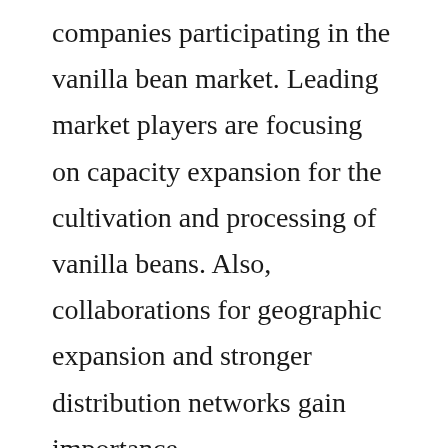companies participating in the vanilla bean market. Leading market players are focusing on capacity expansion for the cultivation and processing of vanilla beans. Also, collaborations for geographic expansion and stronger distribution networks gain importance.

Some of the key players in the market include Tharakan and Company, Daintree Vanilla and Spices, Neilsen-Massey Vanillas Inc., Farooqi Vanilla, Prova, Yanni Vanilla, Vanpropice,